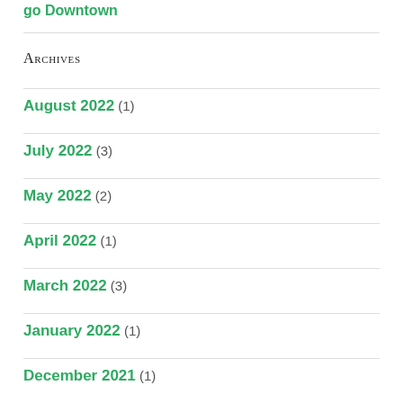go Downtown
Archives
August 2022 (1)
July 2022 (3)
May 2022 (2)
April 2022 (1)
March 2022 (3)
January 2022 (1)
December 2021 (1)